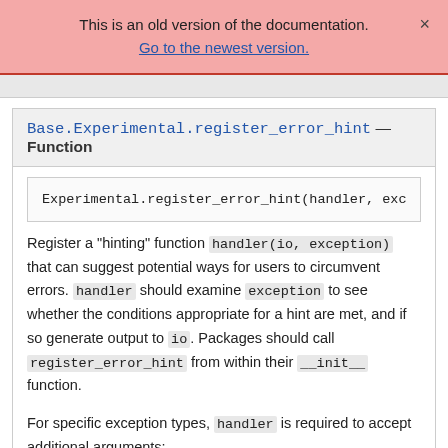This is an old version of the documentation.
Go to the newest version.
Base.Experimental.register_error_hint — Function
Experimental.register_error_hint(handler, exc
Register a "hinting" function handler(io, exception) that can suggest potential ways for users to circumvent errors. handler should examine exception to see whether the conditions appropriate for a hint are met, and if so generate output to io. Packages should call register_error_hint from within their __init__ function.
For specific exception types, handler is required to accept additional arguments: